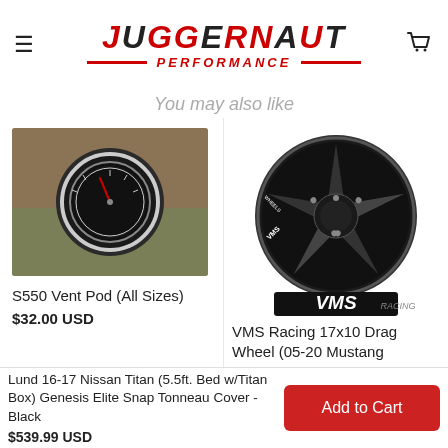[Figure (logo): Juggernaut Performance logo with red and black stylized text]
You may also like
[Figure (photo): Hand holding a round black automotive gauge (S550 Vent Pod)]
S550 Vent Pod (All Sizes)
$32.00 USD
[Figure (photo): VMS Racing black 5-spoke drag wheel with VMS Racing logo below]
VMS Racing 17x10 Drag Wheel (05-20 Mustang
Lund 16-17 Nissan Titan (5.5ft. Bed w/Titan Box) Genesis Elite Snap Tonneau Cover - Black
$539.99 USD
Add to Cart